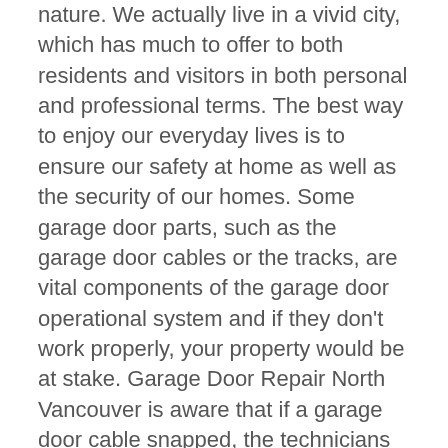nature. We actually live in a vivid city, which has much to offer to both residents and visitors in both personal and professional terms. The best way to enjoy our everyday lives is to ensure our safety at home as well as the security of our homes. Some garage door parts, such as the garage door cables or the tracks, are vital components of the garage door operational system and if they don't work properly, your property would be at stake. Garage Door Repair North Vancouver is aware that if a garage door cable snapped, the technicians must move fast and fix the problem before more problems will arise. A garage door off track must be repaired immediately; otherwise, you won't be able to use your door. Our technicians are aware that the smallest problem can block the operation of your door. Our experience has taught us two things: no damage must be left unrepaired because it can cause worst problems in the near future and most damages must be fixed by trained professionals because any attempt to interfere with the garage door can end in injuries.